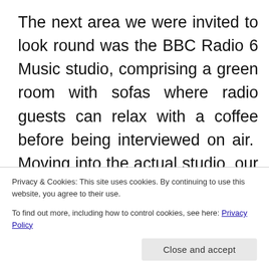The next area we were invited to look round was the BBC Radio 6 Music studio, comprising a green room with sofas where radio guests can relax with a coffee before being interviewed on air.  Moving into the actual studio, our guides explained the production process of setting up a recording studio.  We were shown how presenters can just log into their personal profiles and their own jingles and playlists will appear on the screen ready for their live show, it's all so much easier nowadays with digital
Privacy & Cookies: This site uses cookies. By continuing to use this website, you agree to their use.
To find out more, including how to control cookies, see here: Privacy Policy